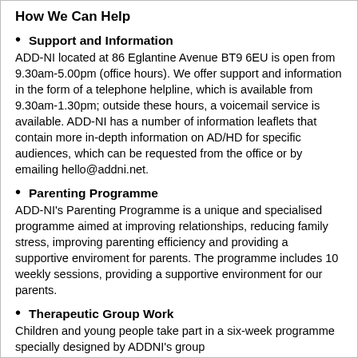How We Can Help
Support and Information
ADD-NI located at 86 Eglantine Avenue BT9 6EU is open from 9.30am-5.00pm (office hours). We offer support and information in the form of a telephone helpline, which is available from 9.30am-1.30pm; outside these hours, a voicemail service is available. ADD-NI has a number of information leaflets that contain more in-depth information on AD/HD for specific audiences, which can be requested from the office or by emailing hello@addni.net.
Parenting Programme
ADD-NI's Parenting Programme is a unique and specialised programme aimed at improving relationships, reducing family stress, improving parenting efficiency and providing a supportive enviroment for parents. The programme includes 10 weekly sessions, providing a supportive environment for our parents.
Therapeutic Group Work
Children and young people take part in a six-week programme specially designed by ADDNI's group